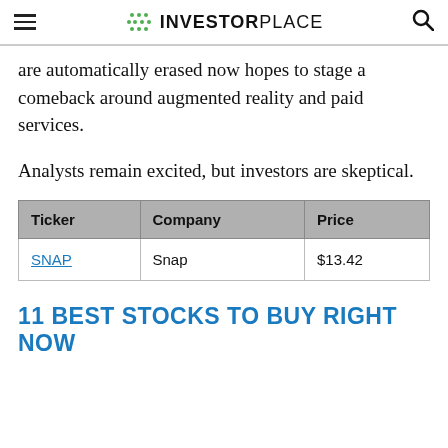INVESTORPLACE
are automatically erased now hopes to stage a comeback around augmented reality and paid services.
Analysts remain excited, but investors are skeptical.
| Ticker | Company | Price |
| --- | --- | --- |
| SNAP | Snap | $13.42 |
11 BEST STOCKS TO BUY RIGHT NOW